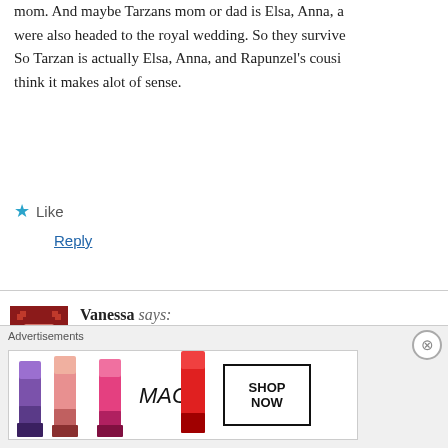mom. And maybe Tarzans mom or dad is Elsa, Anna, a were also headed to the royal wedding. So they survive So Tarzan is actually Elsa, Anna, and Rapunzel's cousi think it makes alot of sense.
★ Like
Reply
Vanessa says: 2nd October, 2018 at 11:37 pm
Here's what I'm thinking. Once upon a time there was and father.
[Figure (photo): Advertisement banner showing MAC cosmetics lipsticks with SHOP NOW button]
Advertisements